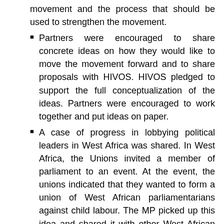movement and the process that should be used to strengthen the movement.
Partners were encouraged to share concrete ideas on how they would like to move the movement forward and to share proposals with HIVOS. HIVOS pledged to support the full conceptualization of the ideas. Partners were encouraged to work together and put ideas on paper.
A case of progress in lobbying political leaders in West Africa was shared. In West Africa, the Unions invited a member of parliament to an event. At the event, the unions indicated that they wanted to form a union of West African parliamentarians against child labour. The MP picked up this idea and shared it with other West African parliamentarians. To-date, they have already done parliamentary discussions on child labour.